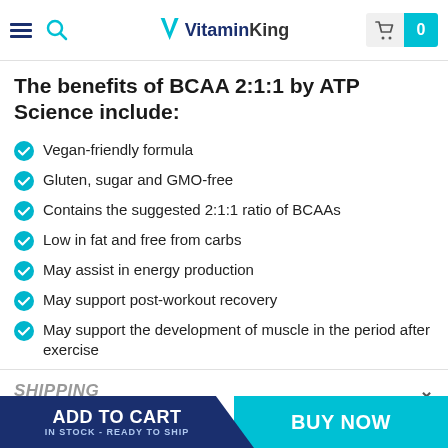VitaminKing
The benefits of BCAA 2:1:1 by ATP Science include:
Vegan-friendly formula
Gluten, sugar and GMO-free
Contains the suggested 2:1:1 ratio of BCAAs
Low in fat and free from carbs
May assist in energy production
May support post-workout recovery
May support the development of muscle in the period after exercise
SHIPPING
ADD TO CART IN STOCK - READY TO SHIP | BUY NOW